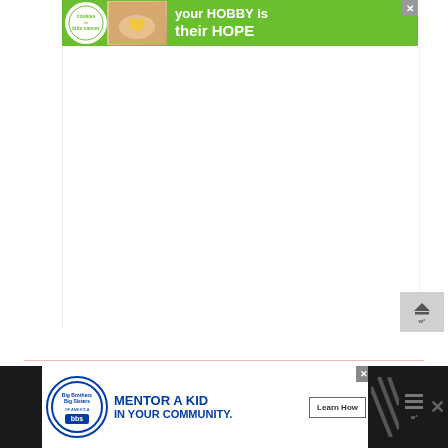[Figure (infographic): Cookies for Kids Cancer charity advertisement banner. Green background with circular logo on left showing 'cookies for kids cancer', image of hands holding heart cookie, white text reading 'your HOBBY is their HOPE'. Close button (X) in top right corner.]
[Figure (other): Large white blank content area below the top advertisement]
[Figure (other): Back to top button with upward arrow and bars icon, gray background]
[Figure (infographic): Big Brothers Big Sisters of America advertisement. White background with circular logo, blue bold text 'MENTOR A KID IN YOUR COMMUNITY.' with 'Learn How' button. Close button (X) in top right corner.]